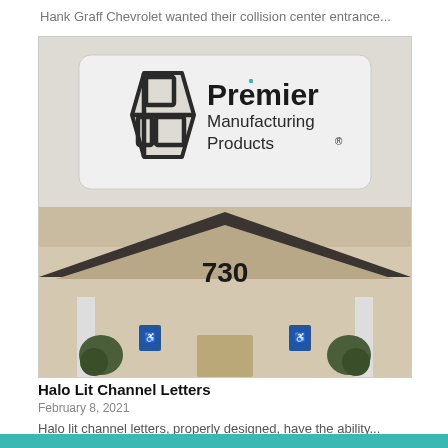Hank Graff Chevrolet wanted their collision center entrance...
[Figure (photo): Two stacked photos: top shows a Premier Manufacturing Products sign mounted on a building wall (white panel with stylized box logo and bold text); bottom shows building entrance with the number 730 above a peaked roof, flanked by columns and accessibility signs.]
Halo Lit Channel Letters
February 8, 2021
Halo lit channel letters, properly designed, have the ability...